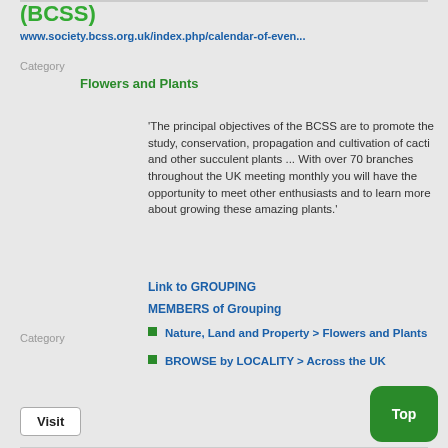(BCSS)
www.society.bcss.org.uk/index.php/calendar-of-even...
Category
Flowers and Plants
'The principal objectives of the BCSS are to promote the study, conservation, propagation and cultivation of cacti and other succulent plants ... With over 70 branches throughout the UK meeting monthly you will have the opportunity to meet other enthusiasts and to learn more about growing these amazing plants.'
Link to GROUPING
MEMBERS of Grouping
Category
Nature, Land and Property > Flowers and Plants
BROWSE by LOCALITY > Across the UK
Visit
Top